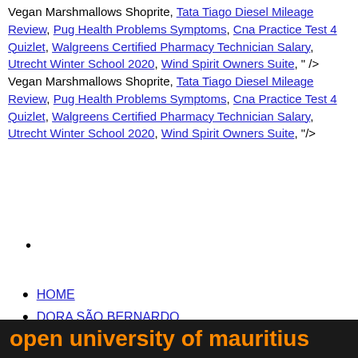Vegan Marshmallows Shoprite, Tata Tiago Diesel Mileage Review, Pug Health Problems Symptoms, Cna Practice Test 4 Quizlet, Walgreens Certified Pharmacy Technician Salary, Utrecht Winter School 2020, Wind Spirit Owners Suite, " /> Vegan Marshmallows Shoprite, Tata Tiago Diesel Mileage Review, Pug Health Problems Symptoms, Cna Practice Test 4 Quizlet, Walgreens Certified Pharmacy Technician Salary, Utrecht Winter School 2020, Wind Spirit Owners Suite, "/>
HOME
DORA SÃO BERNARDO
PROJETOS
MOSTRAS
CONTATO
Enter your search
open university of mauritius